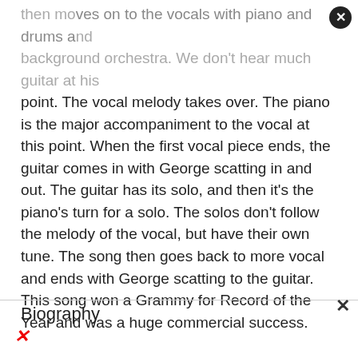then moves on to the vocals with piano and drums and background orchestra. We don't hear much guitar at this point. The vocal melody takes over. The piano is the major accompaniment to the vocal at this point. When the first vocal piece ends, the guitar comes in with George scatting in and out. The guitar has its solo, and then it's the piano's turn for a solo. The solos don't follow the melody of the vocal, but have their own tune. The song then goes back to more vocal and ends with George scatting to the guitar. This song won a Grammy for Record of the Year and was a huge commercial success.
Biography